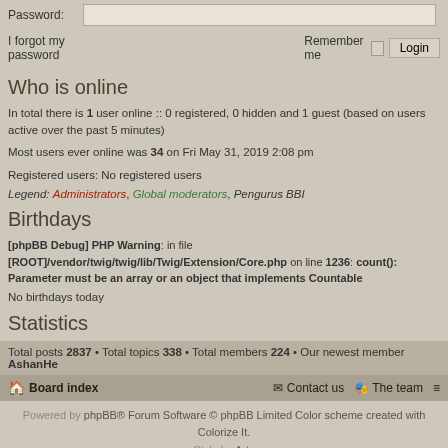Password:
I forgot my password    Remember me  Login
Who is online
In total there is 1 user online :: 0 registered, 0 hidden and 1 guest (based on users active over the past 5 minutes)
Most users ever online was 34 on Fri May 31, 2019 2:08 pm
Registered users: No registered users
Legend: Administrators, Global moderators, Pengurus BBI
Birthdays
[phpBB Debug] PHP Warning: in file [ROOT]/vendor/twig/twig/lib/Twig/Extension/Core.php on line 1236: count(): Parameter must be an array or an object that implements Countable
No birthdays today
Statistics
Total posts 2837 • Total topics 338 • Total members 224 • Our newest member AshanHe
Board index   Contact us   The team
Powered by phpBB® Forum Software © phpBB Limited Color scheme created with Colorize It. Style by Arty